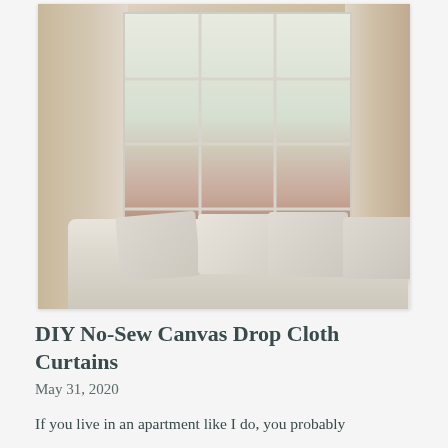[Figure (photo): Interior photo showing linen/canvas drop cloth curtains hanging on either side of a multi-pane window, with a white upholstered sofa with cushions in the foreground. Natural light comes through the window revealing trees and a building outside.]
DIY No-Sew Canvas Drop Cloth Curtains
May 31, 2020
If you live in an apartment like I do, you probably